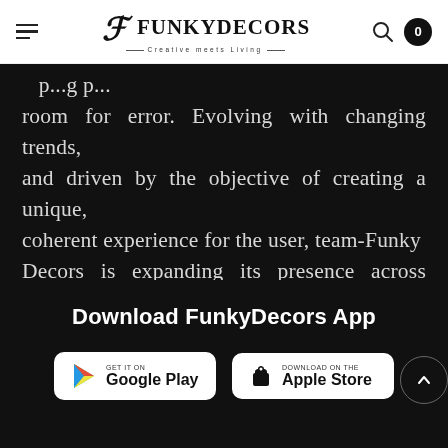FunkyDecors - Creative meets Living
room for error. Evolving with changing trends, and driven by the objective of creating a unique, coherent experience for the user, team-Funky Decors is expanding its presence across Europe, South America, and Asia.
Download FunkyDecors App
[Figure (logo): Google Play Store download button with colorful play triangle icon]
[Figure (logo): Apple App Store download button with Apple logo]